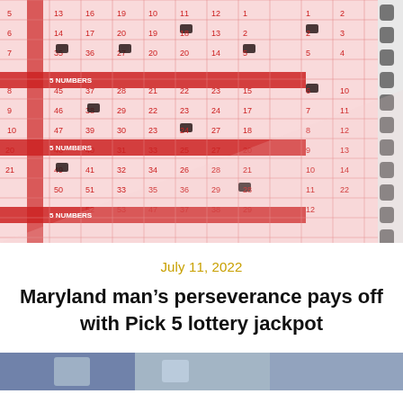[Figure (photo): Close-up of a red and white lottery ticket sheet with numbered bubbles and filled-in marks, shot at an angle]
July 11, 2022
Maryland man’s perseverance pays off with Pick 5 lottery jackpot
[Figure (photo): Partial bottom photo strip, showing what appears to be people or a scene, cut off at bottom of page]